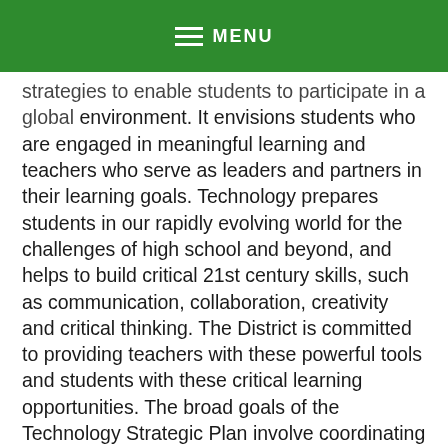MENU
strategies to enable students to participate in a global environment. It envisions students who are engaged in meaningful learning and teachers who serve as leaders and partners in their learning goals. Technology prepares students in our rapidly evolving world for the challenges of high school and beyond, and helps to build critical 21st century skills, such as communication, collaboration, creativity and critical thinking. The District is committed to providing teachers with these powerful tools and students with these critical learning opportunities. The broad goals of the Technology Strategic Plan involve coordinating efforts to increase equity and access to technology tools, and to provide effective professional development in the innovative use of those tools.
PURPOSE: